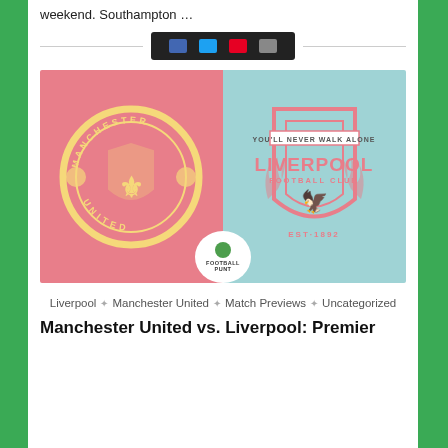weekend. Southampton …
[Figure (illustration): Share/social media bar with dark background and icons]
[Figure (illustration): Manchester United vs Liverpool split image with both club crests on pink and teal backgrounds, Football Punt logo overlay at bottom center]
Liverpool * Manchester United * Match Previews * Uncategorized
Manchester United vs. Liverpool: Premier